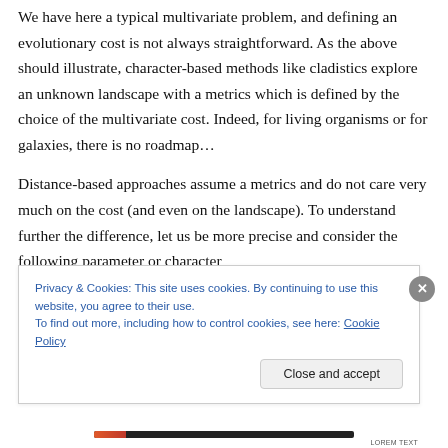We have here a typical multivariate problem, and defining an evolutionary cost is not always straightforward. As the above should illustrate, character-based methods like cladistics explore an unknown landscape with a metrics which is defined by the choice of the multivariate cost. Indeed, for living organisms or for galaxies, there is no roadmap…
Distance-based approaches assume a metrics and do not care very much on the cost (and even on the landscape). To understand further the difference, let us be more precise and consider the following parameter or character
Privacy & Cookies: This site uses cookies. By continuing to use this website, you agree to their use.
To find out more, including how to control cookies, see here: Cookie Policy